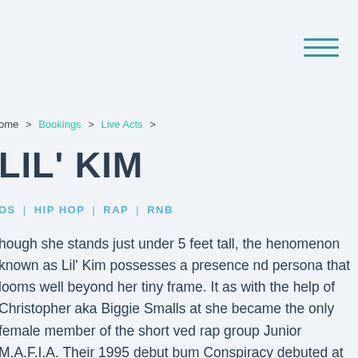hamburger menu icon
ome > Bookings > Live Acts >
LIL' KIM
OS | HIP HOP | RAP | RNB
hough she stands just under 5 feet tall, the henomenon known as Lil' Kim possesses a presence nd persona that looms well beyond her tiny frame. It as with the help of Christopher aka Biggie Smalls at she became the only female member of the short ved rap group Junior M.A.F.I.A. Their 1995 debut bum Conspiracy debuted at #8 on the Billboard Hot